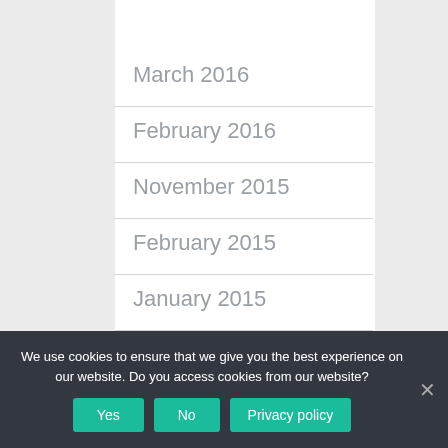March 2016
February 2016
November 2015
February 2015
January 2015
June 2014
October 2013
We use cookies to ensure that we give you the best experience on our website. Do you access cookies from our website?